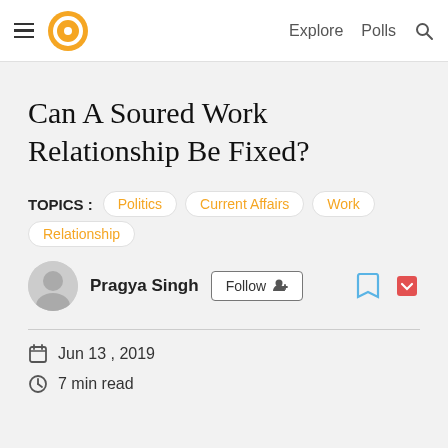Explore  Polls
Can A Soured Work Relationship Be Fixed?
TOPICS : Politics  Current Affairs  Work  Relationship
Pragya Singh  Follow
Jun 13 , 2019
7 min read